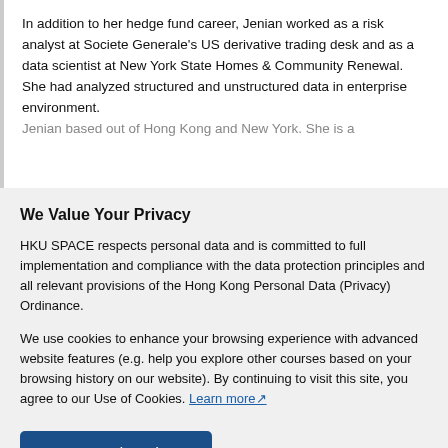In addition to her hedge fund career, Jenian worked as a risk analyst at Societe Generale's US derivative trading desk and as a data scientist at New York State Homes & Community Renewal. She had analyzed structured and unstructured data in enterprise environment. Jenian based out of Hong Kong and New York. She is a
We Value Your Privacy
HKU SPACE respects personal data and is committed to full implementation and compliance with the data protection principles and all relevant provisions of the Hong Kong Personal Data (Privacy) Ordinance.
We use cookies to enhance your browsing experience with advanced website features (e.g. help you explore other courses based on your browsing history on our website). By continuing to visit this site, you agree to our Use of Cookies. Learn more